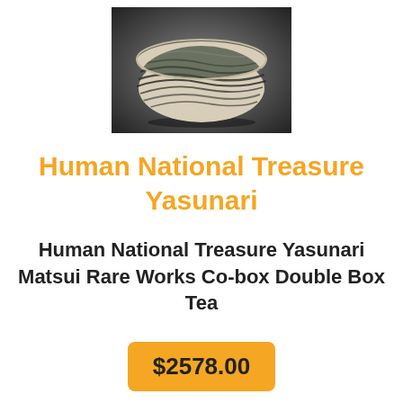[Figure (photo): A ceramic tea bowl with black and white marbled/swirled pattern, photographed against a dark gradient background.]
Human National Treasure Yasunari
Human National Treasure Yasunari Matsui Rare Works Co-box Double Box Tea
$2578.00